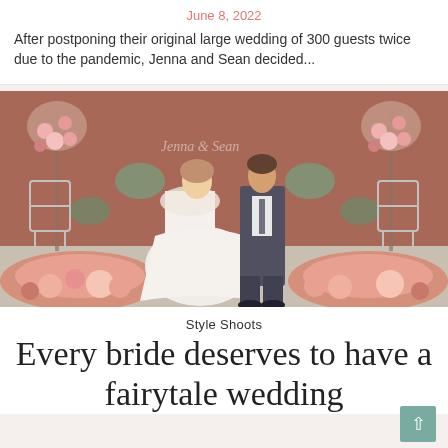June 8, 2022
After postponing their original large wedding of 300 guests twice due to the pandemic, Jenna and Sean decided...
[Figure (photo): Bride in a flowing white gown and groom in dark suit standing together in a floral decorated venue with pink flowers and clear acrylic chairs]
Style Shoots
Every bride deserves to have a fairytale wedding